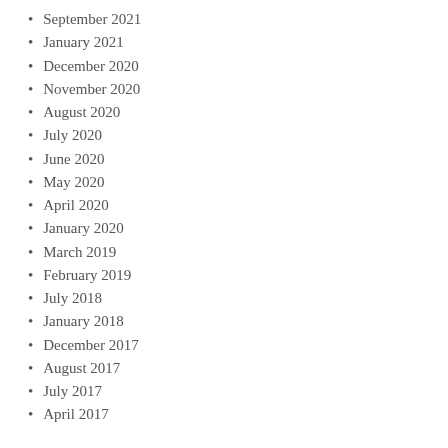September 2021
January 2021
December 2020
November 2020
August 2020
July 2020
June 2020
May 2020
April 2020
January 2020
March 2019
February 2019
July 2018
January 2018
December 2017
August 2017
July 2017
April 2017